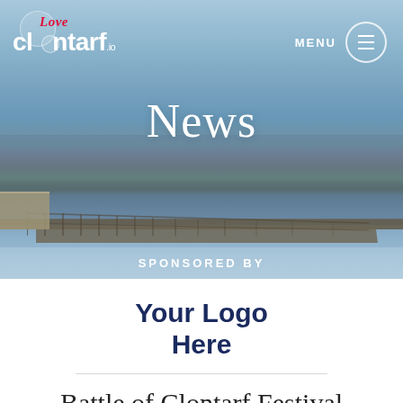[Figure (screenshot): Hero image of Clontarf pier/dock extending into the sea under a blue sky, with navigation bar overlaid showing 'Love Clontarf.io' logo and MENU button]
Love Clontarf.io — MENU
News
SPONSORED BY
Your Logo Here
Battle of Clontarf Festival Weekend - Calender of